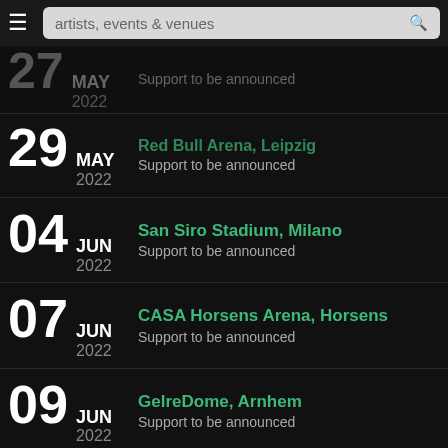artists, events & venues
27 MAY 2022 — Support to be announced
29 MAY 2022 — Support to be announced
04 JUN 2022 — San Siro Stadium, Milano — Support to be announced
07 JUN 2022 — CASA Horsens Arena, Horsens — Support to be announced
09 JUN 2022 — GelreDome, Arnhem — Support to be announced
11 JUN 2022 — Paris La Défense Arena, Nanterre — Support to be announced
15 JUN 2022 — Carrow Road Stadium, Norwich — Support to be announced
17 JUN — Anfield, Liverpool